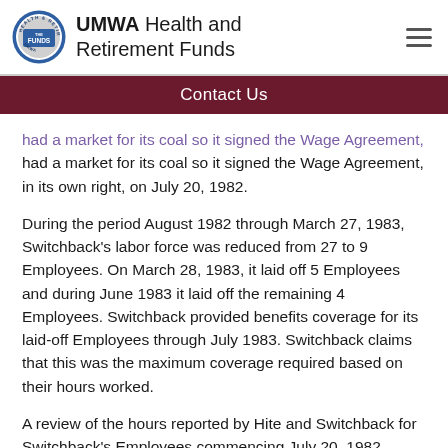UMWA Health and Retirement Funds
Contact Us
had a market for its coal so it signed the Wage Agreement, in its own right, on July 20, 1982.
During the period August 1982 through March 27, 1983, Switchback's labor force was reduced from 27 to 9 Employees. On March 28, 1983, it laid off 5 Employees and during June 1983 it laid off the remaining 4 Employees. Switchback provided benefits coverage for its laid-off Employees through July 1983. Switchback claims that this was the maximum coverage required based on their hours worked.
A review of the hours reported by Hite and Switchback for Switchback's Employees commencing July 20, 1982, indicates that, of the twenty-one (21) Employees on whose